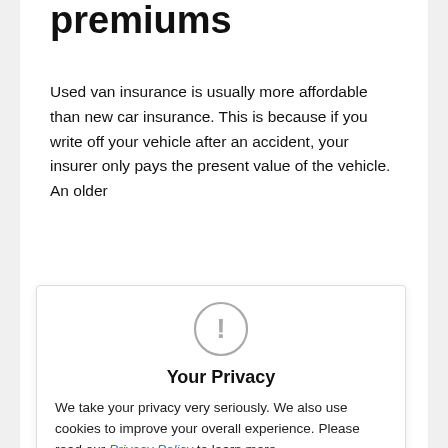premiums
Used van insurance is usually more affordable than new car insurance. This is because if you write off your vehicle after an accident, your insurer only pays the present value of the vehicle. An older vehicle would have a lower value, so lower. This is a benefit for both the insurer and the policyholder. Unfortunately you may have an unfortunate situation, but there is a cost on your part to consider, whether that is buying a new vehicle, getting it repaired or getting repair
[Figure (infographic): Privacy consent overlay with exclamation icon, bold 'Your Privacy' heading, explanatory text about cookies and privacy policy with a link, and a blue rounded 'Okay, hide this.' button]
thoroughly e items are case, meaning